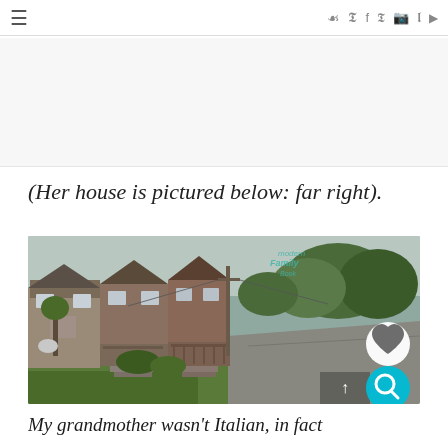≡  [social icons: f p instagram twitter youtube]
(Her house is pictured below: far right).
[Figure (photo): Street view photograph showing a row of brick townhouses on the left with front porches and steps, trees and a road extending to the right, with a 'modern Family Book' watermark in the top right corner. UI elements: a white heart button and a teal search button overlaid on the bottom right, and a scroll-up arrow button.]
My grandmother wasn't Italian, in fact